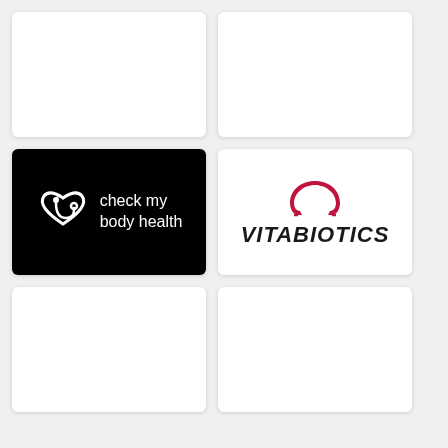[Figure (logo): Empty white card (top left)]
[Figure (logo): Empty white card (top right)]
[Figure (logo): Check my body health logo - white icon of a heart with a stethoscope and white text 'check my body health' on black background]
[Figure (logo): Vitabiotics logo - red Omega symbol above bold italic black text 'VITABIOTICS']
[Figure (logo): Empty white card (bottom left)]
[Figure (logo): Empty white card (bottom right)]